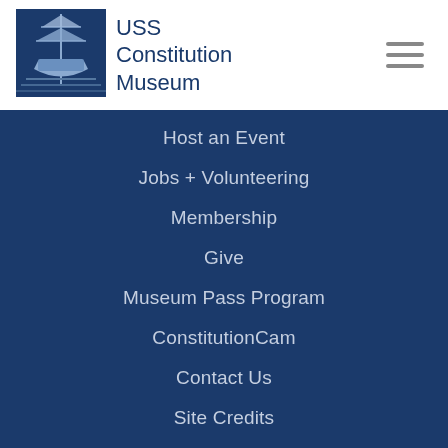[Figure (logo): USS Constitution Museum logo with ship illustration and text]
Host an Event
Jobs + Volunteering
Membership
Give
Museum Pass Program
ConstitutionCam
Contact Us
Site Credits
Privacy Policy
Terms of Use